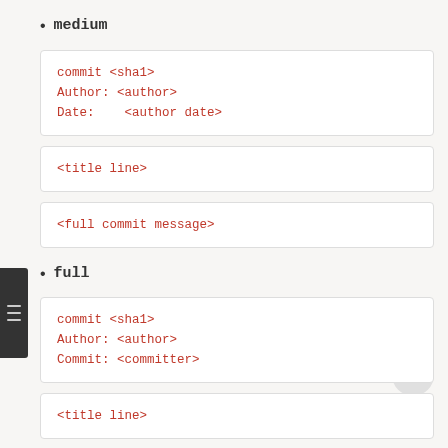medium
commit <sha1>
Author: <author>
Date:    <author date>
<title line>
<full commit message>
full
commit <sha1>
Author: <author>
Commit: <committer>
<title line>